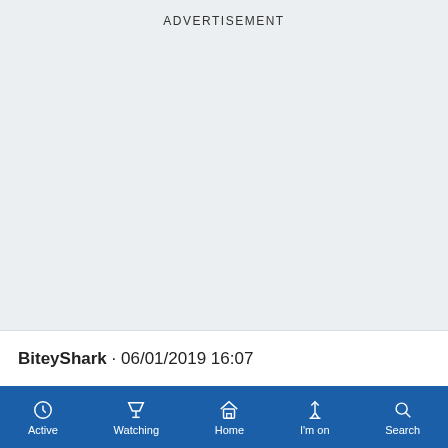ADVERTISEMENT
BiteyShark · 06/01/2019 16:07
[Figure (other): Mobile app navigation bar with icons: Active (clock), Watching (funnel/filter), Home (house), I'm on (pin), Search (magnifier) on blue background]